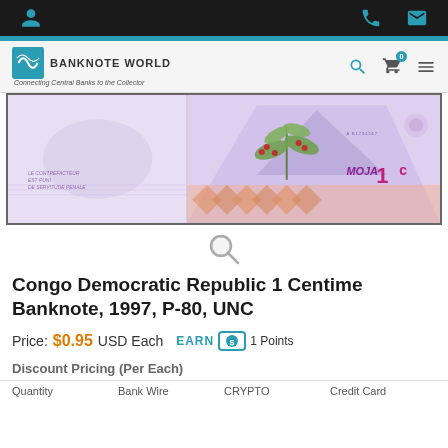Banknote World — Connecting Central Banks to the Collector
[Figure (photo): Banknote image: Congo Democratic Republic 1 Centime banknote, lavender/purple color, showing coffee plant and volcano. Text on note: LE CONTREFACTEUR EST PUNI DE SERVITUDE PENALE, MOJA 1c]
Congo Democratic Republic 1 Centime Banknote, 1997, P-80, UNC
Price: $0.95 USD Each  EARN 1 Points
Discount Pricing (Per Each)
| Quantity | Bank Wire | CRYPTO | Credit Card |
| --- | --- | --- | --- |